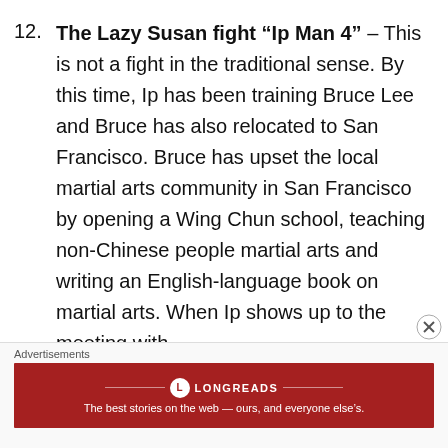12. The Lazy Susan fight "Ip Man 4" – This is not a fight in the traditional sense. By this time, Ip has been training Bruce Lee and Bruce has also relocated to San Francisco. Bruce has upset the local martial arts community in San Francisco by opening a Wing Chun school, teaching non-Chinese people martial arts and writing an English-language book on martial arts. When Ip shows up to the meeting with
Advertisements
[Figure (logo): Longreads advertisement banner: red background with Longreads logo and tagline 'The best stories on the web — ours, and everyone else's.']